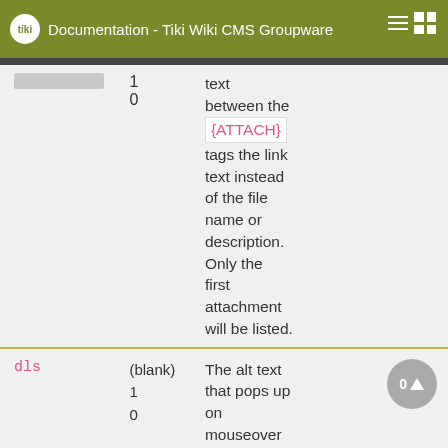Documentation - Tiki Wiki CMS Groupware
|  |  |  |  |
| --- | --- | --- | --- |
|  | 1
0 | text
between the {ATTACH} tags the link text instead of the file name or description. Only the first attachment will be listed. |  |
| dls | (blank)
1
0 | The alt text that pops up on mouseover | 0 |